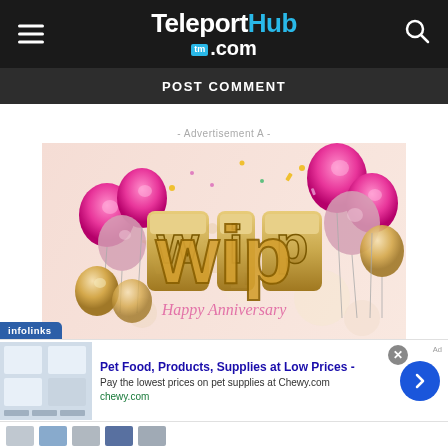TeleportHub.com
POST COMMENT
- Advertisement A -
[Figure (illustration): Advertisement image showing large gold 3D letters 'WIP' surrounded by pink and gold balloons on a light pink background with confetti, with cursive 'Happy Anniversary' text below]
infolinks
[Figure (infographic): Bottom ad banner for Chewy.com: 'Pet Food, Products, Supplies at Low Prices - Pay the lowest prices on pet supplies at Chewy.com' with chewy.com URL and blue arrow button]
[Figure (infographic): Row of small thumbnail images at the bottom of the page]